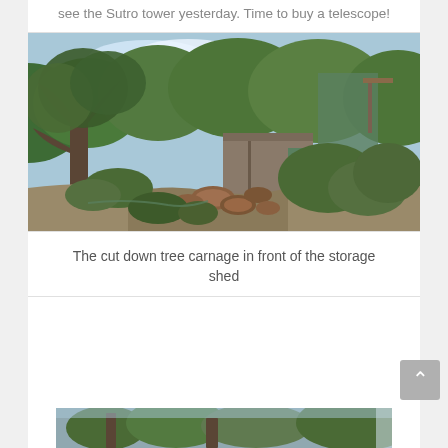see the Sutro tower yesterday. Time to buy a telescope!
[Figure (photo): Outdoor hillside scene showing a storage shed surrounded by fallen cut tree logs and dense green trees/shrubs, photographed in daylight.]
The cut down tree carnage in front of the storage shed
[Figure (photo): Partial view of another outdoor photo at the bottom of the page, partially cropped.]